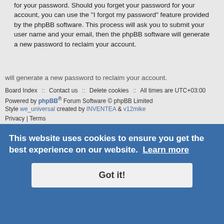password, and your email address required by "SS IPTV" during the registration process is either mandatory or optional, at the discretion of "SS IPTV". In all cases, you have the option of what information in your account is publicly displayed. Furthermore, within your account, you have the option to opt-in or opt-out of automatically generated emails from the phpBB software.
Your password is ciphered (a one-way hash) so that it is secure. However, it is recommended that you do not reuse the same password across a number of different websites. Your password is the means of accessing your account at "SS IPTV", so please guard it carefully and under no circumstance will anyone affiliated with "SS IPTV", phpBB or another 3rd party, legitimately ask you for your password. Should you forget your password for your account, you can use the “I forgot my password” feature provided by the phpBB software. This process will ask you to submit your user name and your email, then the phpBB software will generate a new password to reclaim your account.
will generate a new password to reclaim your account.
Board Index :: Contact us :: Delete cookies :: All times are UTC+03:00
Powered by phpBB® Forum Software © phpBB Limited
Style we_universal created by INVENTEA & v12mike
Privacy | Terms
This website uses cookies to ensure you get the best experience on our website. Learn more
Got it!